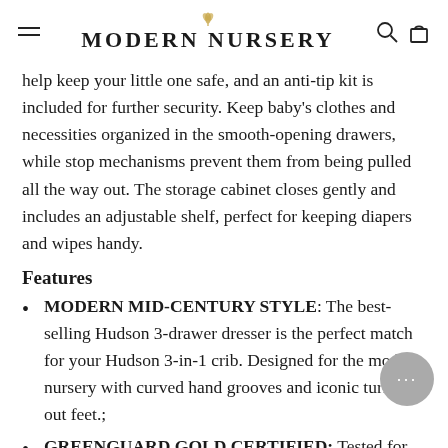MODERN NURSERY
help keep your little one safe, and an anti-tip kit is included for further security. Keep baby's clothes and necessities organized in the smooth-opening drawers, while stop mechanisms prevent them from being pulled all the way out. The storage cabinet closes gently and includes an adjustable shelf, perfect for keeping diapers and wipes handy.
Features
MODERN MID-CENTURY STYLE: The best-selling Hudson 3-drawer dresser is the perfect match for your Hudson 3-in-1 crib. Designed for the modern nursery with curved hand grooves and iconic turned out feet.;
GREENGUARD GOLD CERTIFIED: Tested for over 10,000 chemical emissions and VOCs, undergoes rigorous scientific testing to meet some of the world's most stringent chemical emission standards.